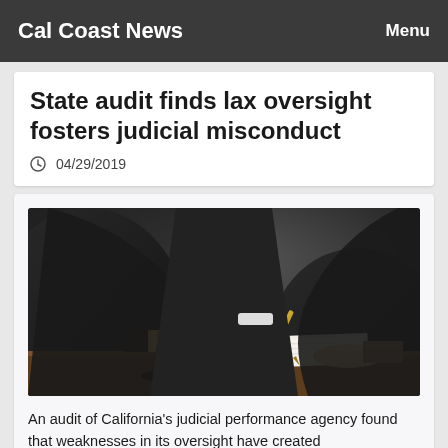Cal Coast News | Menu
State audit finds lax oversight fosters judicial misconduct
04/29/2019
[Figure (photo): A judge wearing black robes signing a legal document at a desk, with a wooden gavel and book visible nearby.]
An audit of California's judicial performance agency found that weaknesses in its oversight have created opportunities for judicial misconduct to go unaddressed.